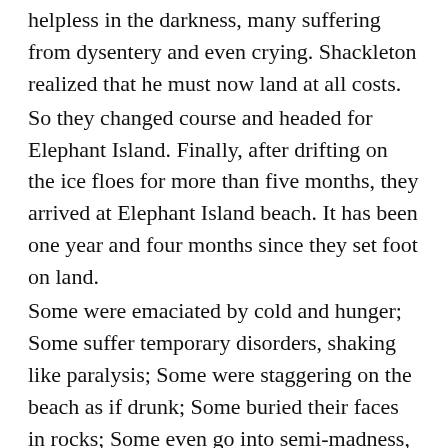helpless in the darkness, many suffering from dysentery and even crying. Shackleton realized that he must now land at all costs.
So they changed course and headed for Elephant Island. Finally, after drifting on the ice floes for more than five months, they arrived at Elephant Island beach. It has been one year and four months since they set foot on land.
Some were emaciated by cold and hunger; Some suffer temporary disorders, shaking like paralysis; Some were staggering on the beach as if drunk; Some buried their faces in rocks; Some even go into semi-madness, with one man holding an axe until he has killed about 10 seals. However, despite reaching land, this remote island has no resources and is far from every conceivable shipping route.
Shackleton decided to send some of the men to South Georgia for help. Finally, Shackleton took four of his